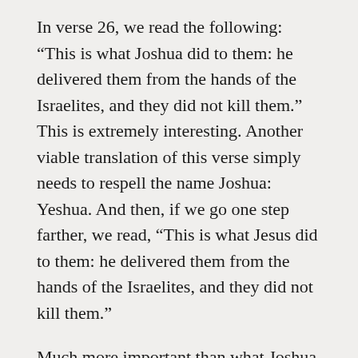In verse 26, we read the following: “This is what Joshua did to them: he delivered them from the hands of the Israelites, and they did not kill them.” This is extremely interesting. Another viable translation of this verse simply needs to respell the name Joshua: Yeshua. And then, if we go one step farther, we read, “This is what Jesus did to them: he delivered them from the hands of the Israelites, and they did not kill them.”
Much more important than what Joshua did for the Gibeonites is what Jesus did for all His people: a group of individuals from every tribe, nation, people, and language